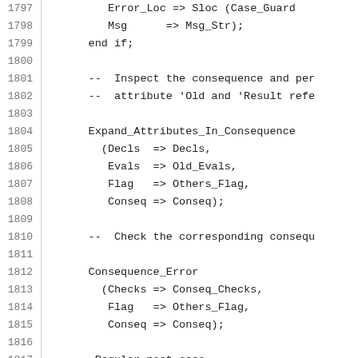Code listing lines 1797-1818: Ada source code snippet showing error handling and consequence expansion logic.
1797: Error_Loc => Sloc (Case_Guard...
1798:     Msg      => Msg_Str);
1799: end if;
1800: (blank)
1801: -- Inspect the consequence and per...
1802: -- attribute 'Old and 'Result refe...
1803: (blank)
1804: Expand_Attributes_In_Consequence
1805:  (Decls => Decls,
1806:   Evals => Old_Evals,
1807:   Flag  => Others_Flag,
1808:   Conseq => Conseq);
1809: (blank)
1810: -- Check the corresponding consequ...
1811: (blank)
1812: Consequence_Error
1813:  (Checks => Conseq_Checks,
1814:   Flag   => Others_Flag,
1815:   Conseq => Conseq);
1816: (blank)
1817: -- Regular post case
1818: (blank/partial)